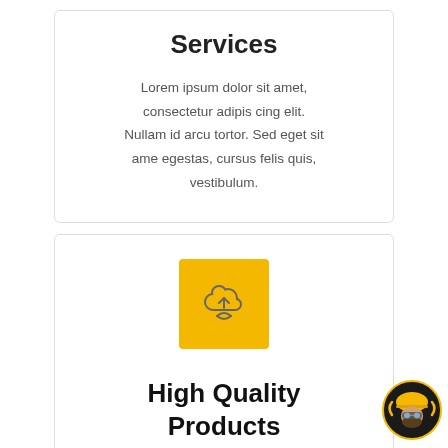Services
Lorem ipsum dolor sit amet, consectetur adipis cing elit. Nullam id arcu tortor. Sed eget sit ame egestas, cursus felis quis, vestibulum.
[Figure (illustration): Yellow square icon with a cloud upload symbol (arrow pointing up inside a cloud outline)]
High Quality Products
[Figure (logo): Circular logo badge showing a bearded man wearing a hard hat and goggles, with golden and black colors]